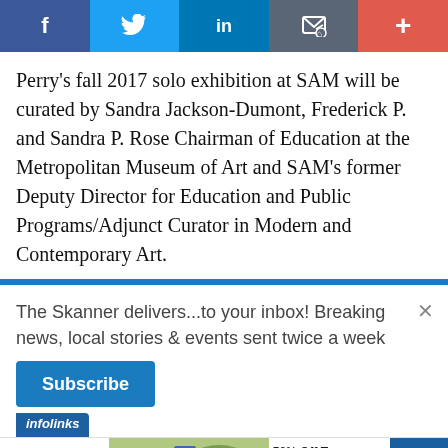[Figure (infographic): Social media sharing bar with Facebook, Twitter, LinkedIn, email/bookmark, and plus buttons]
Perry’s fall 2017 solo exhibition at SAM will be curated by Sandra Jackson-Dumont, Frederick P. and Sandra P. Rose Chairman of Education at the Metropolitan Museum of Art and SAM’s former Deputy Director for Education and Public Programs/Adjunct Curator in Modern and Contemporary Art.
The Skanner delivers...to your inbox! Breaking news, local stories & events sent twice a week
Subscribe
[Figure (infographic): SmartPak advertisement: 50% Off Two Months of ColiCare, ColiCare Eligible Supplements, CODE: COLICARE10, Shop Now]
[Figure (infographic): Abogada Valentina Oronsaye advertisement, phone 713-334-7200, Llámenos al]